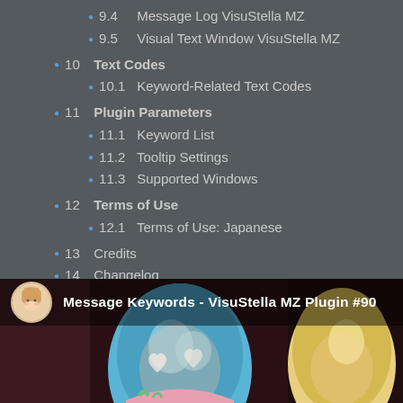9.4  Message Log VisuStella MZ
9.5  Visual Text Window VisuStella MZ
10  Text Codes
10.1  Keyword-Related Text Codes
11  Plugin Parameters
11.1  Keyword List
11.2  Tooltip Settings
11.3  Supported Windows
12  Terms of Use
12.1  Terms of Use: Japanese
13  Credits
14  Changelog
15  End of File
[Figure (screenshot): Video thumbnail for 'Message Keywords - VisuStella MZ Plugin #90' showing anime characters with blue and blonde hair on a dark background with a channel avatar icon.]